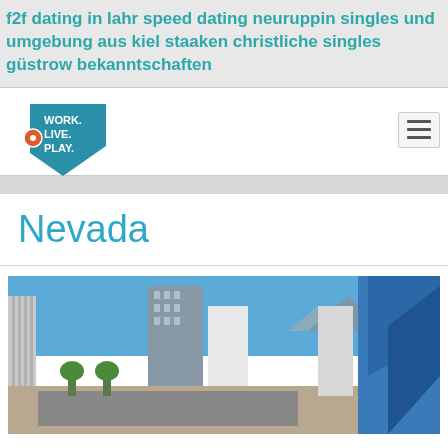f2f dating in lahr speed dating neuruppin singles und umgebung aus kiel staaken christliche singles güstrow bekanntschaften
[Figure (logo): Work. Live. Play. Nevada shaped logo in teal blue with orange dot]
[Figure (other): Hamburger menu icon]
Nevada
[Figure (photo): Aerial/street view of a Nevada city skyline with buildings and street scene under blue sky]